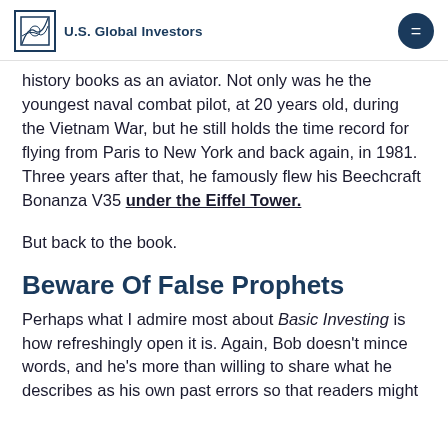U.S. Global Investors
history books as an aviator. Not only was he the youngest naval combat pilot, at 20 years old, during the Vietnam War, but he still holds the time record for flying from Paris to New York and back again, in 1981. Three years after that, he famously flew his Beechcraft Bonanza V35 under the Eiffel Tower.
But back to the book.
Beware Of False Prophets
Perhaps what I admire most about Basic Investing is how refreshingly open it is. Again, Bob doesn't mince words, and he's more than willing to share what he describes as his own past errors so that readers might